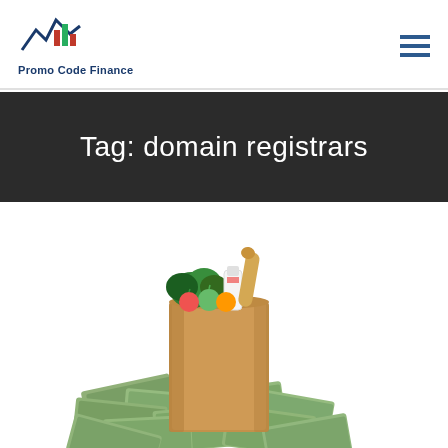Promo Code Finance
Tag: domain registrars
[Figure (photo): A brown paper grocery bag filled with vegetables, fruit, bread, and a milk bottle, sitting on a pile of US dollar bills scattered on a white background]